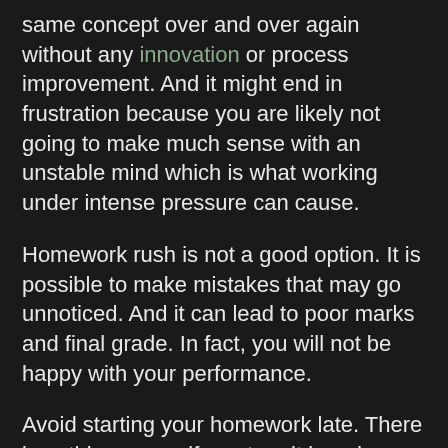same concept over and over again without any innovation or process improvement. And it might end in frustration because you are likely not going to make much sense with an unstable mind which is what working under intense pressure can cause.
Homework rush is not a good option. It is possible to make mistakes that may go unnoticed. And it can lead to poor marks and final grade. In fact, you will not be happy with your performance.
Avoid starting your homework late. There is nothing wrong if you turn it in a day or two before the proposed deadline. Starting early will give you enough time to think, research, crosscheck your finished work, and even make drastic changes when the need arises. You cannot do this when the deadline is just around the corner and you have not done much. In fact, that is when you will